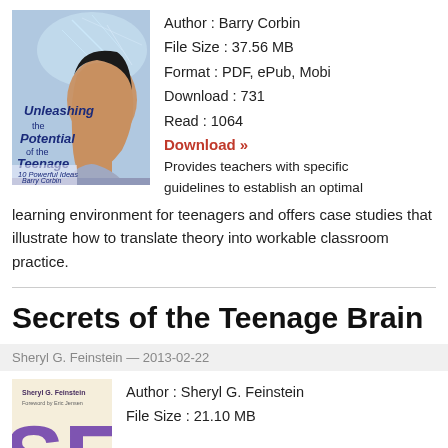[Figure (illustration): Book cover of 'Unleashing the Potential of the Teenage Brain - 10 Powerful Ideas' by Barry Corbin, showing a teenage boy in profile with electric/neural imagery.]
Author : Barry Corbin
File Size : 37.56 MB
Format : PDF, ePub, Mobi
Download : 731
Read : 1064
Download »
Provides teachers with specific guidelines to establish an optimal learning environment for teenagers and offers case studies that illustrate how to translate theory into workable classroom practice.
Secrets of the Teenage Brain
Sheryl G. Feinstein — 2013-02-22
[Figure (illustration): Partial book cover of 'Secrets of the Teenage Brain' by Sheryl G. Feinstein, showing partial 'SE' letters in purple.]
Author : Sheryl G. Feinstein
File Size : 21.10 MB